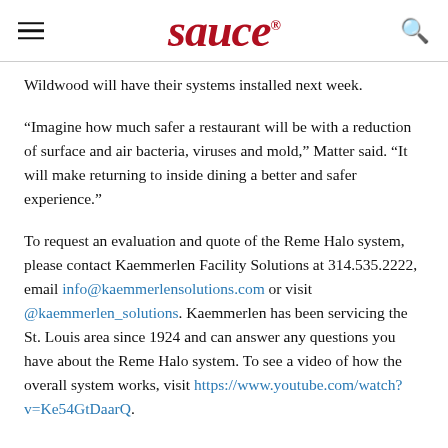sauce
Wildwood will have their systems installed next week.
“Imagine how much safer a restaurant will be with a reduction of surface and air bacteria, viruses and mold,” Matter said. “It will make returning to inside dining a better and safer experience.”
To request an evaluation and quote of the Reme Halo system, please contact Kaemmerlen Facility Solutions at 314.535.2222, email info@kaemmerlensolutions.com or visit @kaemmerlen_solutions. Kaemmerlen has been servicing the St. Louis area since 1924 and can answer any questions you have about the Reme Halo system. To see a video of how the overall system works, visit https://www.youtube.com/watch?v=Ke54GtDaarQ.